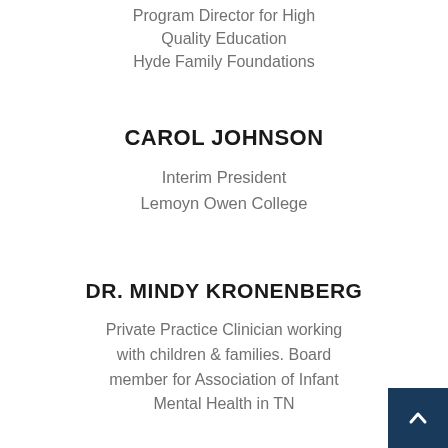Program Director for High Quality Education
Hyde Family Foundations
CAROL JOHNSON
Interim President
Lemoyn Owen College
DR. MINDY KRONENBERG
Private Practice Clinician working with children & families. Board member for Association of Infant Mental Health in TN